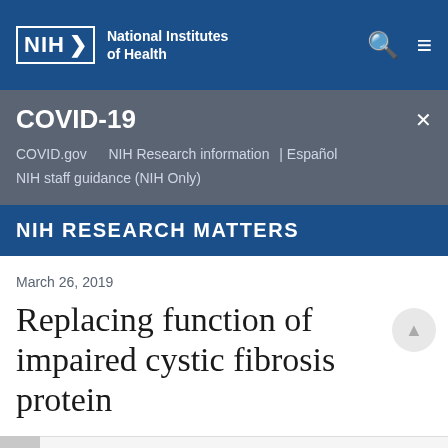[Figure (logo): NIH National Institutes of Health header logo with search and menu icons on blue background]
COVID-19
COVID.gov    NIH Research information | Español
NIH staff guidance (NIH Only)
NIH RESEARCH MATTERS
March 26, 2019
Replacing function of impaired cystic fibrosis protein
At a Glance